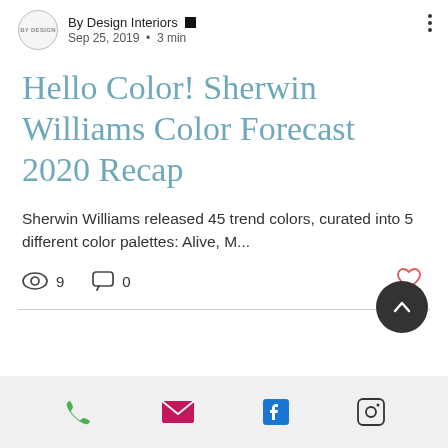By Design Interiors • Sep 25, 2019 • 3 min
Hello Color! Sherwin Williams Color Forecast 2020 Recap
Sherwin Williams released 45 trend colors, curated into 5 different color palettes: Alive, M...
[Figure (infographic): Interaction bar with eye icon showing 9 views, speech bubble icon showing 0 comments, and a heart icon on the right]
[Figure (infographic): Dark circular scroll-to-top button with upward chevron arrow]
Footer with phone, email, Facebook, and Instagram icons